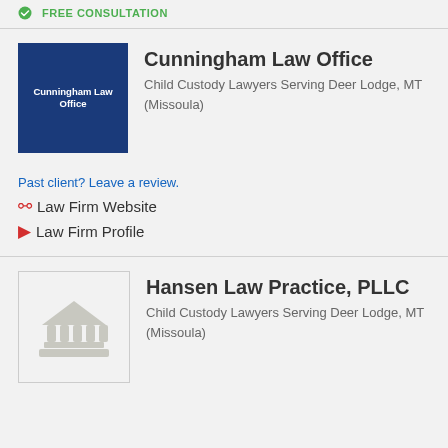FREE CONSULTATION
[Figure (logo): Cunningham Law Office blue square logo with white text]
Cunningham Law Office
Child Custody Lawyers Serving Deer Lodge, MT (Missoula)
Past client? Leave a review.
Law Firm Website
Law Firm Profile
[Figure (illustration): Hansen Law Practice default courthouse/pillars illustration logo]
Hansen Law Practice, PLLC
Child Custody Lawyers Serving Deer Lodge, MT (Missoula)